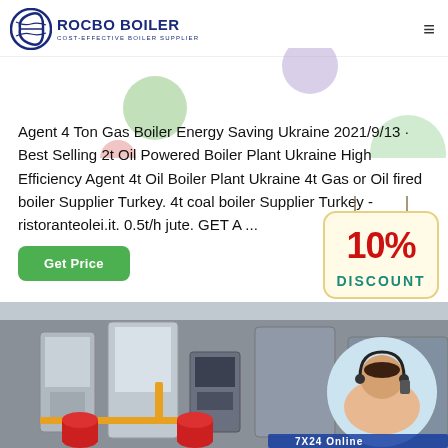ROCBO BOILER - COST-EFFECTIVE BOILER SUPPLIER
Agent 4 Ton Gas Boiler Energy Saving Ukraine 2021/9/13 · Best Selling 2t Oil Powered Boiler Plant Ukraine High Efficiency Agent 4t Oil Boiler Plant Ukraine 4t Gas or Oil fired boiler Supplier Turkey. 4t coal boiler Supplier Turkey - ristoranteolei.it. 0.5t/h jute. GET A ...
[Figure (infographic): 10% DISCOUNT badge hanging sign with red and teal text]
[Figure (photo): Industrial boiler plant room with large metal cylindrical boilers and control panels, with customer service agent in circular inset and 7X24 Online text]